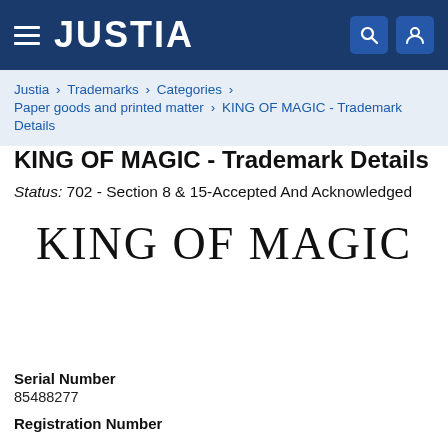JUSTIA
Justia › Trademarks › Categories › Paper goods and printed matter › KING OF MAGIC - Trademark Details
KING OF MAGIC - Trademark Details
Status: 702 - Section 8 & 15-Accepted And Acknowledged
[Figure (logo): KING OF MAGIC trademark text logo in large serif font]
Serial Number
85488277
Registration Number